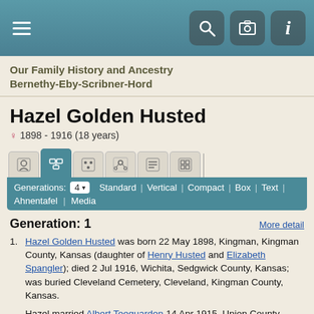Our Family History and Ancestry Bernethy-Eby-Scribner-Hord
Hazel Golden Husted
♀ 1898 - 1916  (18 years)
Generation: 1
Hazel Golden Husted was born 22 May 1898, Kingman, Kingman County, Kansas (daughter of Henry Husted and Elizabeth Spangler); died 2 Jul 1916, Wichita, Sedgwick County, Kansas; was buried Cleveland Cemetery, Cleveland, Kingman County, Kansas.
Hazel married Albert Teeguarden 14 Apr 1915, Union County, Indiana. Albert was born Abt 1898. [Group Sheet]